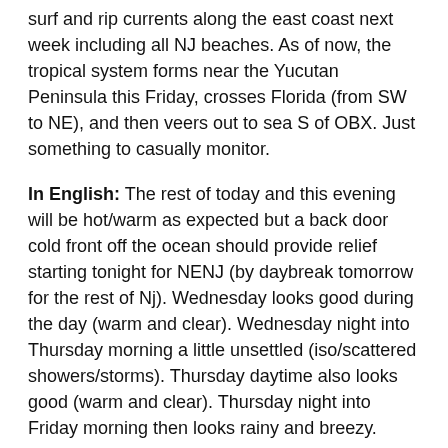surf and rip currents along the east coast next week including all NJ beaches. As of now, the tropical system forms near the Yucutan Peninsula this Friday, crosses Florida (from SW to NE), and then veers out to sea S of OBX. Just something to casually monitor.
In English: The rest of today and this evening will be hot/warm as expected but a back door cold front off the ocean should provide relief starting tonight for NENJ (by daybreak tomorrow for the rest of Nj). Wednesday looks good during the day (warm and clear). Wednesday night into Thursday morning a little unsettled (iso/scattered showers/storms). Thursday daytime also looks good (warm and clear). Thursday night into Friday morning then looks rainy and breezy. Then this weekend is looking spectacular under a dome of high pressure. Everyone have a great rest of your Monday as we close out the month of May. Be safe! JC
Premium Services
KABOOM Club offers inside info forecast discussion, your questions answered, and early storm impact maps (ahead of the public). At a buck per month, it's an extremely feasible way to show support for JC.